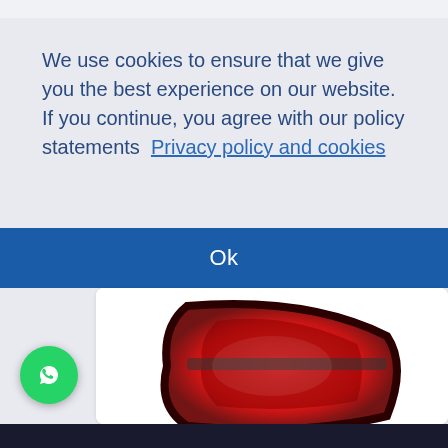We use cookies to ensure that we give you the best experience on our website. If you continue, you agree with our policy statements  Privacy policy and cookies
Ok
[Figure (photo): Audi A3 tail light product photo with Beta Auto Parts branding bar]
Audi A3 (2017-up), Tail
A3    $120